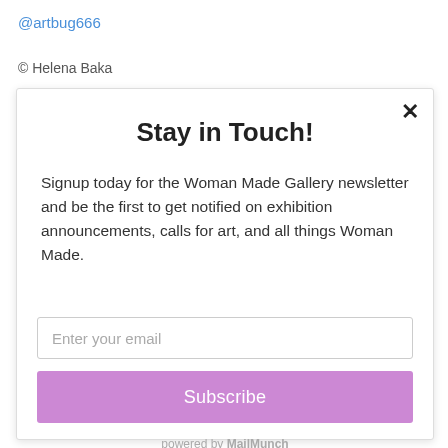@artbug666
© Helena Baka
Stay in Touch!
Signup today for the Woman Made Gallery newsletter and be the first to get notified on exhibition announcements, calls for art, and all things Woman Made.
Enter your email
Subscribe
powered by MailMunch